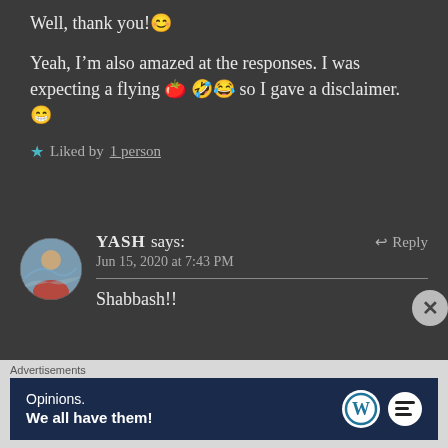Well, thank you!😊
Yeah, I’m also amazed at the responses. I was expecting a flying 🍅 🤣😂 so I gave a disclaimer.😁
★ Liked by 1 person
YASH says:   Jun 15, 2020 at 7:43 PM
Shabbash!!
[Figure (photo): Circular avatar photo of a person standing on a mountain landscape with cloudy sky]
Advertisements
[Figure (infographic): Advertisement banner: Opinions. We all have them! with WordPress and another logo]